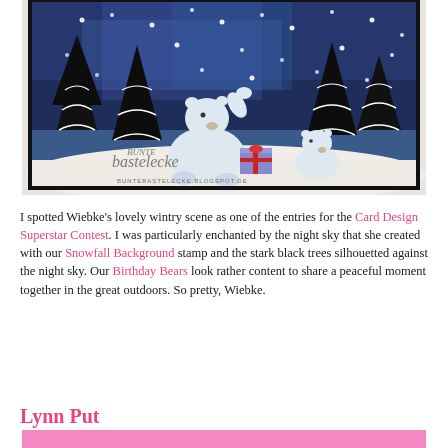[Figure (photo): A handmade winter greeting card showing two polar bears, a large and small one, sitting in a snowy scene with dark silhouetted Christmas trees against a deep blue/purple night sky with white snowflakes. A wrapped gift with a red bow is between them. The card has a watermark reading 'BUNTE bastelecke' and URL 'BUNTEBASTELECKE.BLOGSPOT.DE' at the bottom. The card is photographed on a white surface.]
I spotted Wiebke's lovely wintry scene as one of the entries for the Card Design Superstar Contest. I was particularly enchanted by the night sky that she created with our Snowfall Background stamp and the stark black trees silhouetted against the night sky. Our Birthday Bears look rather content to share a peaceful moment together in the great outdoors. So pretty, Wiebke.
Lynn Put
[Figure (photo): Partial view of a pink patterned crafting paper or card at the bottom of the page.]